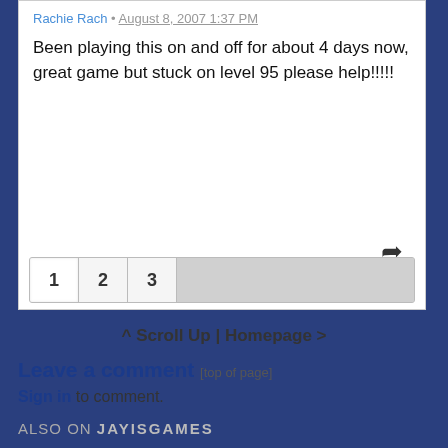Rachie Rach • August 8, 2007 1:37 PM
Been playing this on and off for about 4 days now, great game but stuck on level 95 please help!!!!!
1 2 3
^ Scroll Up | Homepage >
Leave a comment [top of page]
Sign in to comment.
ALSO ON JAYISGAMES
Escape from the Haunted